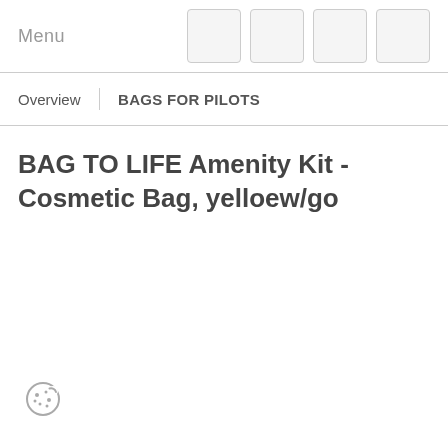Menu
Overview | BAGS FOR PILOTS
BAG TO LIFE Amenity Kit - Cosmetic Bag, yelloew/go
[Figure (illustration): Cookie/cookie consent icon — a small circular cookie with dots suggesting cookie crumbs, rendered as a simple line icon in gray]